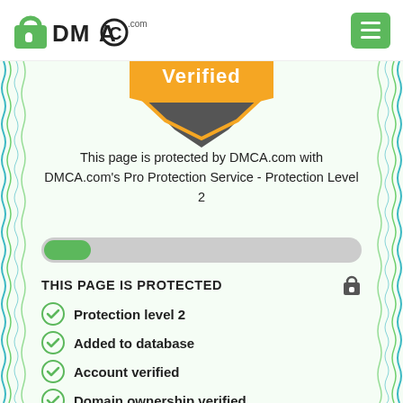[Figure (logo): DMCA.com logo with padlock icon and green menu button]
[Figure (illustration): DMCA certificate badge with orange and dark chevron/shield design at top of certificate]
This page is protected by DMCA.com with DMCA.com's Pro Protection Service - Protection Level 2
[Figure (illustration): Green toggle switch slider in ON position on grey track]
THIS PAGE IS PROTECTED
Protection level 2
Added to database
Account verified
Domain ownership verified